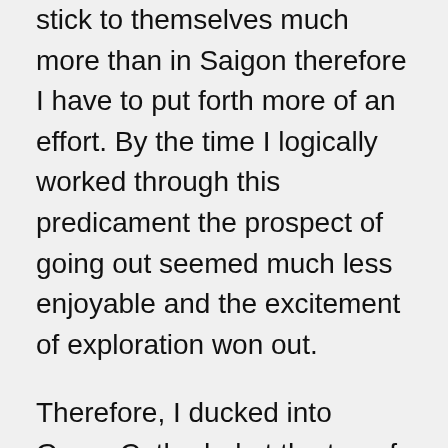stick to themselves much more than in Saigon therefore I have to put forth more of an effort. By the time I logically worked through this predicament the prospect of going out seemed much less enjoyable and the excitement of exploration won out.
Therefore, I ducked into Grace Cathedral at the top of Nob Hill for a dose of history as well as to quiet the mind a little. The church was very dark so instead of inspecting the murals I sat down and had some quiet time. Quiet time seemed more like a pause in time as very little thinking actually took place. It is almost as if